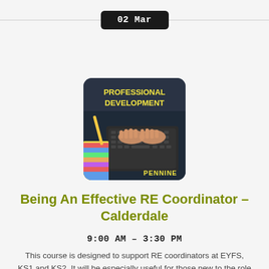02 Mar
[Figure (photo): Professional development course thumbnail showing hands on a laptop keyboard with text 'PROFESSIONAL DEVELOPMENT' in yellow and 'PENNINE' at the bottom, alongside colorful stationery items.]
Being An Effective RE Coordinator – Calderdale
9:00 AM – 3:30 PM
This course is designed to support RE coordinators at EYFS, KS1 and KS2. It will be especially useful for those new to the role but will also provide practical help and development opportunities for those who have been in the role for a while.